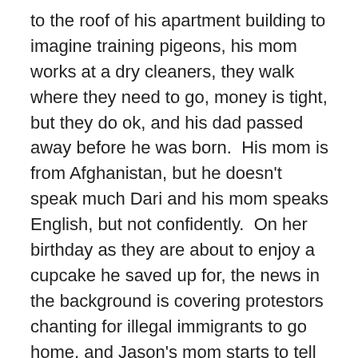to the roof of his apartment building to imagine training pigeons, his mom works at a dry cleaners, they walk where they need to go, money is tight, but they do ok, and his dad passed away before he was born.  His mom is from Afghanistan, but he doesn't speak much Dari and his mom speaks English, but not confidently.  On her birthday as they are about to enjoy a cupcake he saved up for, the news in the background is covering protestors chanting for illegal immigrants to go home, and Jason's mom starts to tell him about how she ended up overstaying her visa and is living in the US illegally.
Jason's dad worked with the US military in Afghanistan and with his work came the promise of visas to America for him and for his wife to study.  Many of the locals though didn't like that he was cooperating and vowed to take their